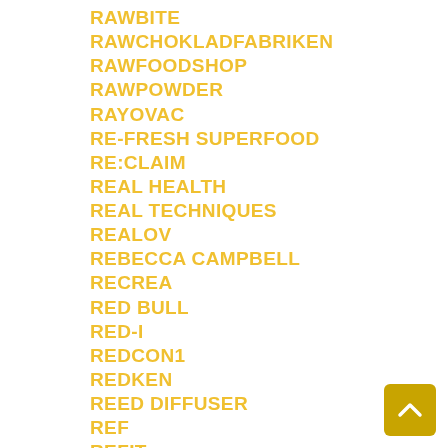RAWBITE
RAWCHOKLADFABRIKEN
RAWFOODSHOP
RAWPOWDER
RAYOVAC
RE-FRESH SUPERFOOD
RE:CLAIM
REAL HEALTH
REAL TECHNIQUES
REALOV
REBECCA CAMPBELL
RECREA
RED BULL
RED-I
REDCON1
REDKEN
REED DIFFUSER
REF
REFIT
REGULAT
REHBAND
REIGN
REIGN ENERGY